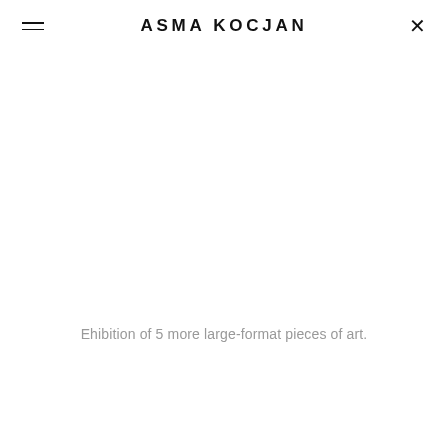ASMA KOCJAN
Ehibition of 5 more large-format pieces of art.